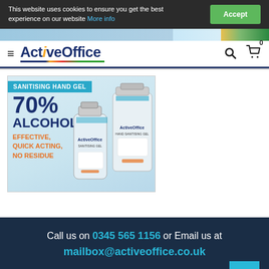This website uses cookies to ensure you get the best experience on our website More info | Accept
[Figure (screenshot): ActiveOffice website header with logo, hamburger menu, search and cart icons. Cart shows 0 items.]
[Figure (photo): Sanitising hand gel product banner. 70% Alcohol. Effective, Quick Acting, No Residue. Shows two bottles of hand sanitising gel.]
Call us on 0345 565 1156 or Email us at mailbox@activeoffice.co.uk
About  News  Contact  Delivery  Returns